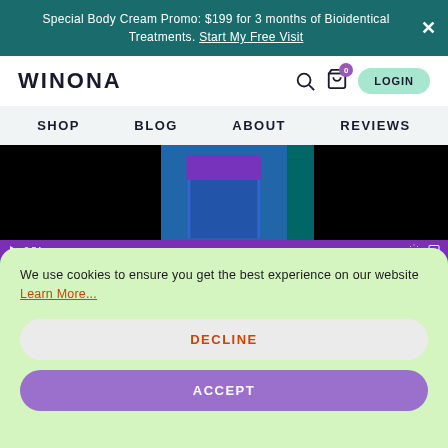Special Body Cream Promo: $199 for 3 months of Bioidentical Treatments. Start My Free Visit
[Figure (logo): WINONA logo in bold black letters]
SHOP   BLOG   ABOUT   REVIEWS
[Figure (screenshot): Video player showing a person in blue patterned shirt with purple top, with purple video controls bar at bottom showing 0:54 timestamp]
We use cookies to ensure you get the best experience on our website Learn More...
DECLINE
ACCEPT